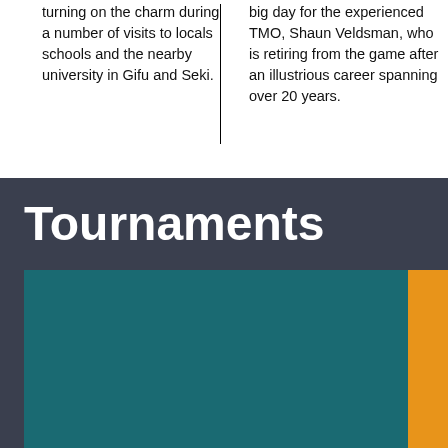turning on the charm during a number of visits to locals schools and the nearby university in Gifu and Seki.
big day for the experienced TMO, Shaun Veldsman, who is retiring from the game after an illustrious career spanning over 20 years.
Tournaments
[Figure (illustration): Rugby World Cup Sevens 2022 promotional banner with teal background and orange accent bar. Headline text reads: RUGBY WORLD CUP SEVENS 2022 / SA RUGBY WARNS AGAINST RWC SEVENS TICKET SCAMS]